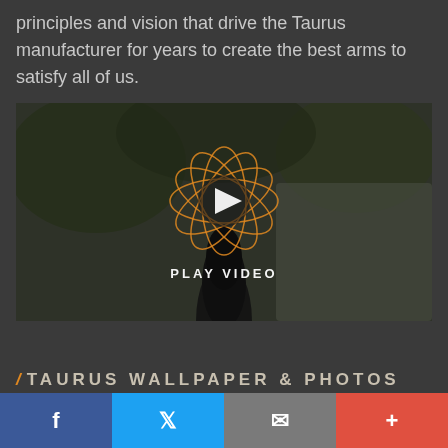principles and vision that drive the Taurus manufacturer for years to create the best arms to satisfy all of us.
[Figure (screenshot): Video thumbnail showing a person holding a gun pointed at camera, with an orange atomic/circular logo overlay and a play button in the center. Text reads PLAY VIDEO.]
/ TAURUS WALLPAPER & PHOTOS
Facebook share | Twitter share | Email share | Plus share